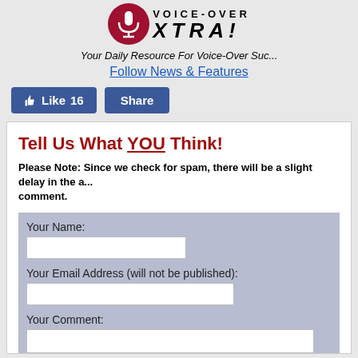[Figure (logo): Voice-Over Xtra logo with red circle microphone icon and bold text VOICE-OVER XTRA!]
Your Daily Resource For Voice-Over Success
Follow News & Features
[Figure (other): Facebook Like (16) and Share buttons]
Tell Us What YOU Think!
Please Note: Since we check for spam, there will be a slight delay in the appearance of your comment.
Your Name:
Your Email Address (will not be published):
Your Comment: